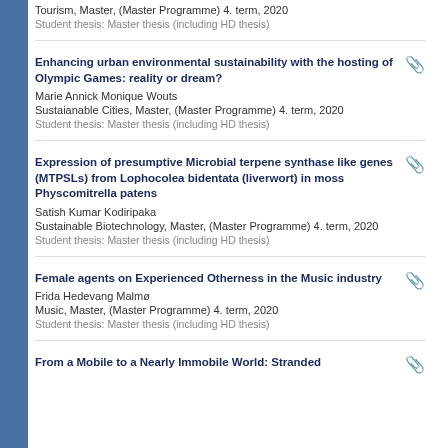Tourism, Master, (Master Programme) 4. term, 2020
Student thesis: Master thesis (including HD thesis)
Enhancing urban environmental sustainability with the hosting of Olympic Games: reality or dream?
Marie Annick Monique Wouts
Sustaianable Cities, Master, (Master Programme) 4. term, 2020
Student thesis: Master thesis (including HD thesis)
Expression of presumptive Microbial terpene synthase like genes (MTPSLs) from Lophocolea bidentata (liverwort) in moss Physcomitrella patens
Satish Kumar Kodiripaka
Sustainable Biotechnology, Master, (Master Programme) 4. term, 2020
Student thesis: Master thesis (including HD thesis)
Female agents on Experienced Otherness in the Music industry
Frida Hedevang Malmø
Music, Master, (Master Programme) 4. term, 2020
Student thesis: Master thesis (including HD thesis)
From a Mobile to a Nearly Immobile World: Stranded